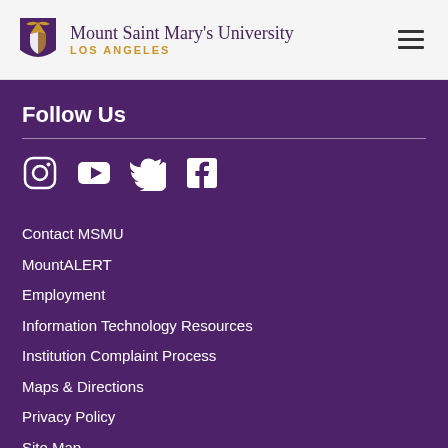Mount Saint Mary's University LOS ANGELES
Follow Us
[Figure (infographic): Social media icons: Instagram, YouTube, Twitter, Facebook]
Contact MSMU
MountALERT
Employment
Information Technology Resources
Institution Complaint Process
Maps & Directions
Privacy Policy
Site Map